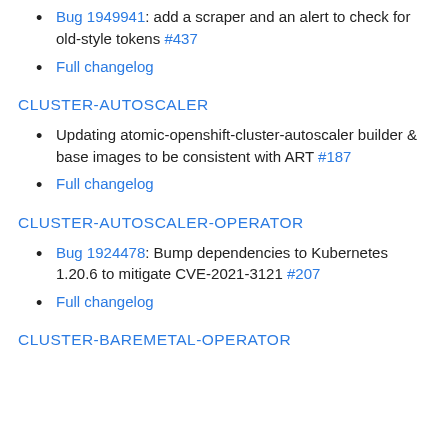Bug 1949941: add a scraper and an alert to check for old-style tokens #437
Full changelog
CLUSTER-AUTOSCALER
Updating atomic-openshift-cluster-autoscaler builder & base images to be consistent with ART #187
Full changelog
CLUSTER-AUTOSCALER-OPERATOR
Bug 1924478: Bump dependencies to Kubernetes 1.20.6 to mitigate CVE-2021-3121 #207
Full changelog
CLUSTER-BAREMETAL-OPERATOR